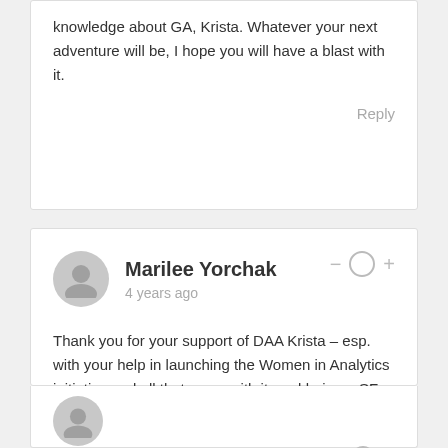knowledge about GA, Krista. Whatever your next adventure will be, I hope you will have a blast with it.
Reply
Marilee Yorchak
4 years ago
Thank you for your support of DAA Krista – esp. with your help in launching the Women in Analytics initiative and all that came with it, and being a SF chapter leader. I am excited to hear what your next adventure is!
Reply
Gary Le Masson